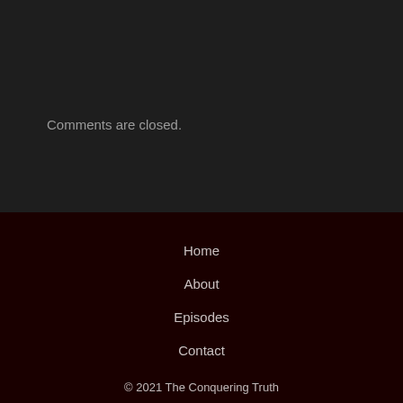Comments are closed.
Home
About
Episodes
Contact
© 2021 The Conquering Truth